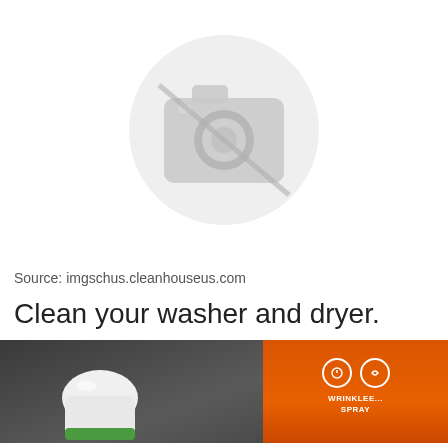[Figure (photo): Placeholder image with a gray camera icon on white background, indicating a missing or unavailable photograph.]
Source: imgschus.cleanhouseus.com
Clean your washer and dryer.
[Figure (photo): Photo of a white cap/container and an orange product box (wrinkle releaser spray) on a dark surface.]